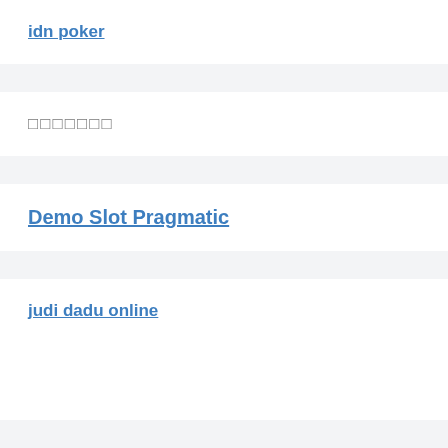idn poker
□□□□□□□
Demo Slot Pragmatic
judi dadu online